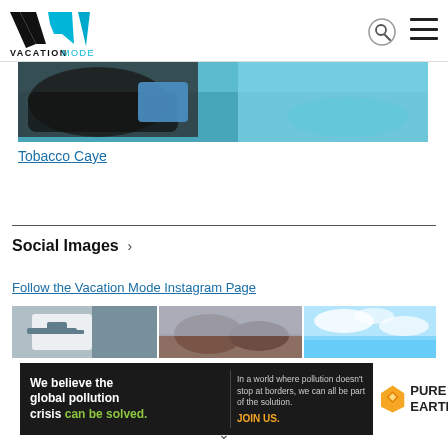VACATIONMODE - navigation header with logo, search icon, and hamburger menu
[Figure (photo): Boat interior with dark bags/gear visible, shallow turquoise water in background - Tobacco Caye scene]
Tobacco Caye
Social Images >
Follow the Vacation Mode Instagram Page
[Figure (photo): Three social media preview images: plane/airport scene (grey tones), beach/rocky scene (brown tones), and sky/clouds scene (blue tones)]
[Figure (infographic): Pure Earth advertisement banner: 'We believe the global pollution crisis can be solved.' with text 'In a world where pollution doesn't stop at borders, we can all be part of the solution. JOIN US.' and Pure Earth logo with diamond/chevron icon]